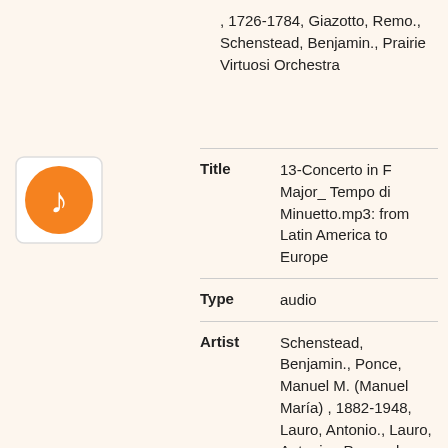, 1726-1784, Giazotto, Remo., Schenstead, Benjamin., Prairie Virtuosi Orchestra
| Field | Value |
| --- | --- |
| Title | 13-Concerto in F Major_ Tempo di Minuetto.mp3: from Latin America to Europe |
| Type | audio |
| Artist | Schenstead, Benjamin., Ponce, Manuel M. (Manuel María) , 1882-1948, Lauro, Antonio., Lauro, Antonio., Pernambuco, João , 1883-1947, Barrios Mangoré, Agustín , 1885-1944, Barrios Mangoré, Agustín , 1885-1944, Sáinz de la Maza, R. (Regino) , 1896-1981, Reis, Dilermando., Piazzolla, Astor., Dyens, Roland , 1955-, Kohaut, Karl , 1726-1784, Giazotto, Remo., Schenstead, Benjamin., Prairie |